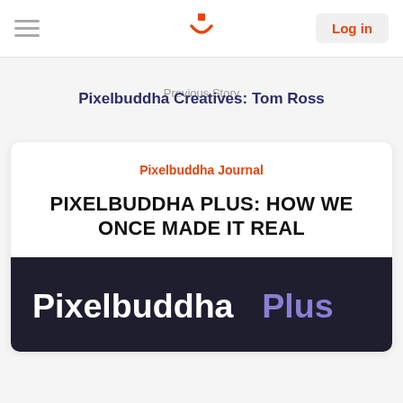Log in
Previous Story
Pixelbuddha Creatives: Tom Ross
Pixelbuddha Journal
PIXELBUDDHA PLUS: HOW WE ONCE MADE IT REAL
[Figure (screenshot): Dark banner with white bold text 'Pixelbuddha' and purple text 'Plus' on a dark navy background]